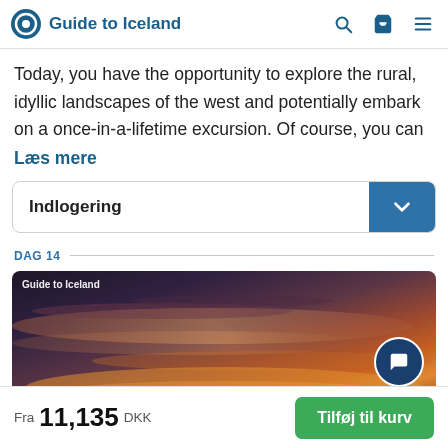Guide to Iceland
Today, you have the opportunity to explore the rural, idyllic landscapes of the west and potentially embark on a once-in-a-lifetime excursion. Of course, you can
Læs mere
Indlogering
DAG 14
[Figure (photo): Dramatic sunset or twilight sky with orange and purple clouds, Guide to Iceland watermark in top left, chat bubble icon bottom right]
Fra 11,135 DKK
Tilføj til kurv